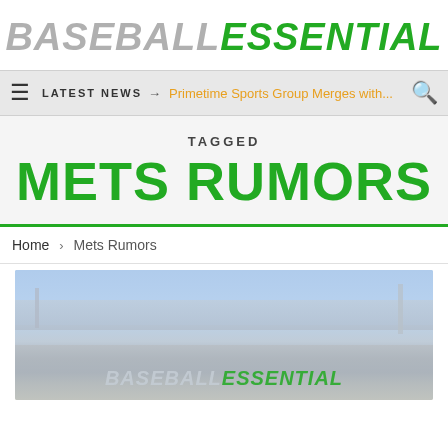BASEBALL ESSENTIAL
≡  LATEST NEWS → Primetime Sports Group Merges with...  🔍
TAGGED
METS RUMORS
Home > Mets Rumors
[Figure (photo): Baseball stadium with light blue sky background and Baseball Essential logo overlay]